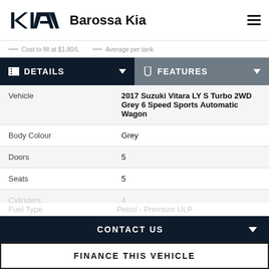Barossa Kia
Cost to fill at $1.80/L   Average per tank
DETAILS
FEATURES
|  |  |
| --- | --- |
| Vehicle | 2017 Suzuki Vitara LY S Turbo 2WD Grey 6 Speed Sports Automatic Wagon |
| Body Colour | Grey |
| Doors | 5 |
| Seats | 5 |
| Cylinders | 4 |
| Fuel Type | Petrol - Premium ULP |
CONTACT US
FINANCE THIS VEHICLE